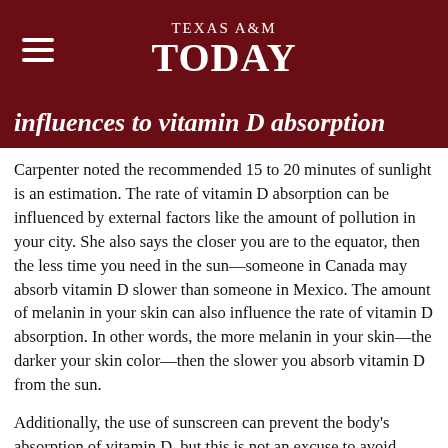TEXAS A&M TODAY
influences to vitamin D absorption
Carpenter noted the recommended 15 to 20 minutes of sunlight is an estimation. The rate of vitamin D absorption can be influenced by external factors like the amount of pollution in your city. She also says the closer you are to the equator, then the less time you need in the sun—someone in Canada may absorb vitamin D slower than someone in Mexico. The amount of melanin in your skin can also influence the rate of vitamin D absorption. In other words, the more melanin in your skin—the darker your skin color—then the slower you absorb vitamin D from the sun.
Additionally, the use of sunscreen can prevent the body's absorption of vitamin D, but this is not an excuse to avoid using sunscreen. Your body really only needs 15 to 20 minutes of sunlight to absorb enough vitamin D, and that is all your body can absorb at one time. So, after that 15 minutes in the sun, your body